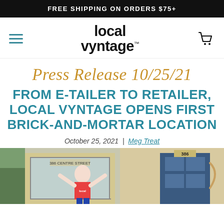FREE SHIPPING ON ORDERS $75+
[Figure (logo): Local Vyntage logo with hamburger menu icon on left and shopping cart icon on right]
Press Release 10/25/21
FROM E-TAILER TO RETAILER, LOCAL VYNTAGE OPENS FIRST BRICK-AND-MORTAR LOCATION
October 25, 2021 | Meg Treat
[Figure (photo): Photo of a person in a red shirt with arms raised celebrating in front of a storefront with address 386 Centre Street]